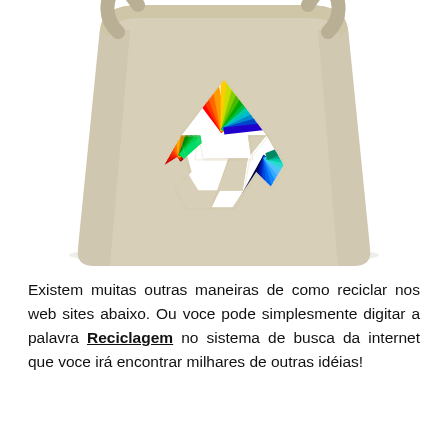[Figure (photo): A beige/natural canvas tote bag with a colorful recycling symbol (showing rainbow-colored radiating lines in the three-arrow recycling logo shape) printed on the front. The bag has two handles visible at the top.]
Existem muitas outras maneiras de como reciclar nos web sites abaixo. Ou voce pode simplesmente digitar a palavra Reciclagem no sistema de busca da internet que voce irá encontrar milhares de outras idéias!